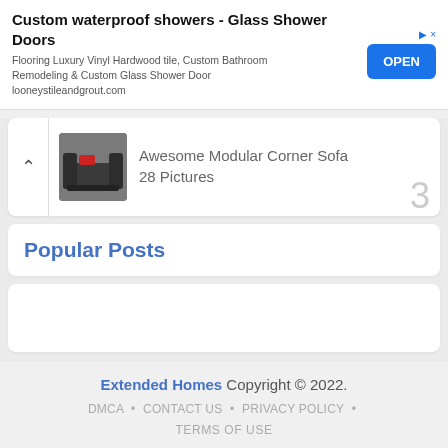[Figure (infographic): Advertisement banner for Custom waterproof showers - Glass Shower Doors with OPEN button]
Custom waterproof showers - Glass Shower Doors
Flooring Luxury Vinyl Hardwood tile, Custom Bathroom Remodeling & Custom Glass Shower Door
looneystileandgrout.com
[Figure (photo): Thumbnail image of a dark grey modular corner sofa]
Awesome Modular Corner Sofa 28 Pictures
Popular Posts
Extended Homes Copyright © 2022.
DMCA • CONTACT US • PRIVACY POLICY • TERMS OF USE